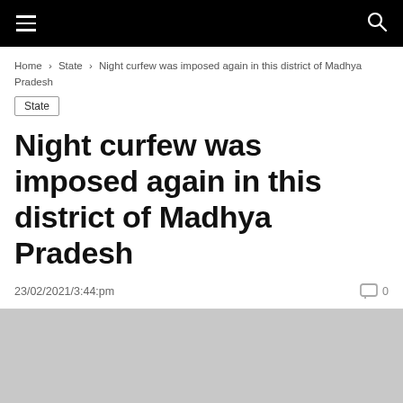≡  [site logo]  🔍
Home › State › Night curfew was imposed again in this district of Madhya Pradesh
State
Night curfew was imposed again in this district of Madhya Pradesh
23/02/2021/3:44:pm   💬 0
[Figure (photo): Gray placeholder image area at bottom of page]